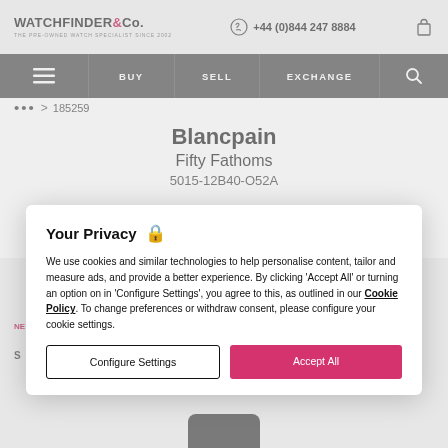WATCHFINDER & Co. THE PRE-OWNED WATCH SPECIALIST SINCE 2002 | +44 (0)844 247 8884
BUY | SELL | EXCHANGE
... > 185259
Blancpain
Fifty Fathoms
5015-12B40-O52A
Your Privacy
We use cookies and similar technologies to help personalise content, tailor and measure ads, and provide a better experience. By clicking 'Accept All' or turning an option on in 'Configure Settings', you agree to this, as outlined in our Cookie Policy. To change preferences or withdraw consent, please configure your cookie settings.
Configure Settings
Accept All